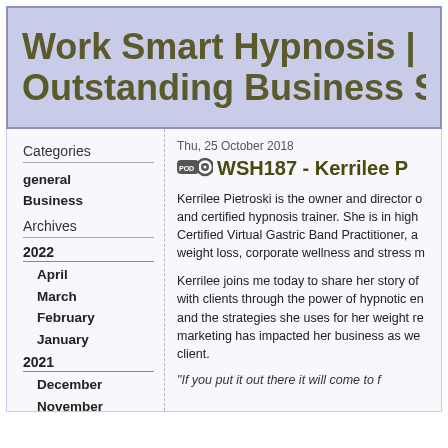Work Smart Hypnosis | Hypnosis and Outstanding Business Success
Thu, 25 October 2018
WSH187 - Kerrilee P
Categories
general
Business
Archives
2022
April
March
February
January
2021
December
November
October
September
August
Kerrilee Pietroski is the owner and director of and certified hypnosis trainer. She is in high Certified Virtual Gastric Band Practitioner, a weight loss, corporate wellness and stress m
Kerrilee joins me today to share her story of with clients through the power of hypnotic en and the strategies she uses for her weight re marketing has impacted her business as we client.
"If you put it out there it will come to f